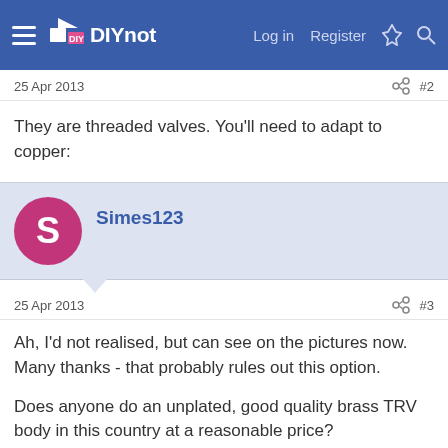DIYnot — Log in Register
25 Apr 2013  #2
They are threaded valves. You'll need to adapt to copper:
Simes123
25 Apr 2013  #3
Ah, I'd not realised, but can see on the pictures now. Many thanks - that probably rules out this option.

Does anyone do an unplated, good quality brass TRV body in this country at a reasonable price?

i can live with chrome plated if they are a reasonable price I guess, but of good quality.